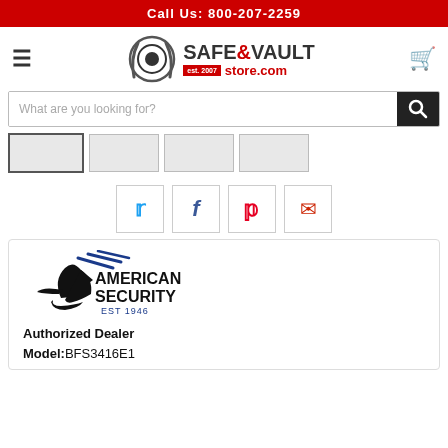Call Us: 800-207-2259
[Figure (logo): Safe & Vault Store.com logo with circular eye graphic, established 2007]
[Figure (screenshot): Search bar with placeholder text 'What are you looking for?' and search button]
[Figure (screenshot): Product thumbnail image row with 4 small thumbnails]
[Figure (infographic): Social sharing buttons: Twitter, Facebook, Pinterest, Email]
[Figure (logo): American Security EST 1946 logo]
Authorized Dealer
Model:BFS3416E1